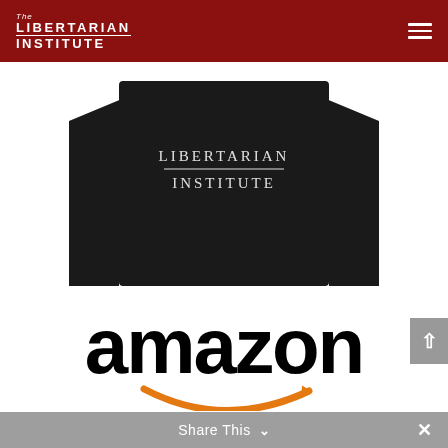The Libertarian Institute
[Figure (photo): Black long-sleeve shirt with 'LIBERTARIAN INSTITUTE' text printed on the back, shown on white background]
[Figure (logo): Amazon logo in black text with orange arrow swoosh underneath]
Share This ∨  ✕